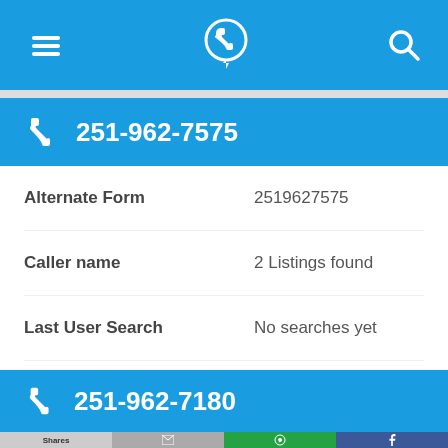Navigation bar with menu, phone locator, and search icons
251-962-7575
| Field | Value |
| --- | --- |
| Alternate Form | 2519627575 |
| Caller name | 2 Listings found |
| Last User Search | No searches yet |
| Comments | 0 |
251-962-7180
Shares | (mail) | WhatsApp | Facebook